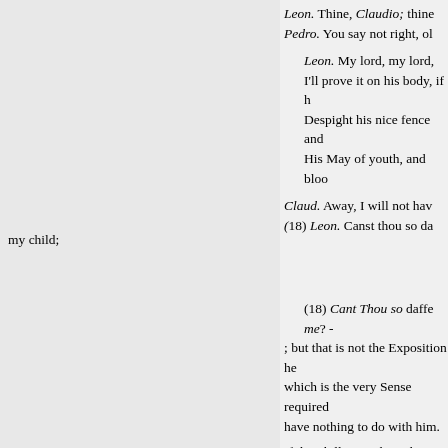Leon. Thine, Claudio; thine
Pedro. You say not right, ol
Leon. My lord, my lord,
I'll prove it on his body, if h
Despight his nice fence and
His May of youth, and bloo
Claud. Away, I will not hav
(18) Leon. Canst thou so da
my child;
(18) Cant Thou so daffe me? -
; but that is not the Exposition he
which is the very Sense required
have nothing to do with him.
If thou kill'st me, boy, thou shalt
Ant. He shall kill two of u
But that's no matter, let him
Win me and wear me, let hi
Come, follow me, boy ; con
Sir boy, I'll whip you from